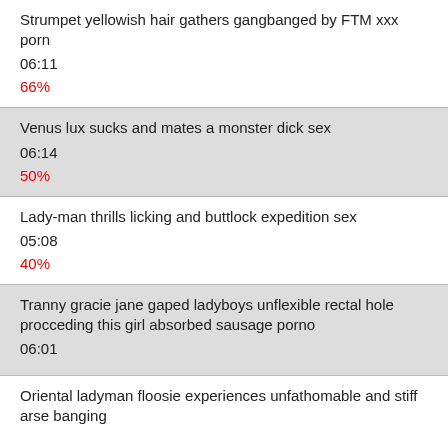Strumpet yellowish hair gathers gangbanged by FTM xxx porn
06:11
66%
Venus lux sucks and mates a monster dick sex
06:14
50%
Lady-man thrills licking and buttlock expedition sex
05:08
40%
Tranny gracie jane gaped ladyboys unflexible rectal hole procceding this girl absorbed sausage porno
06:01
Oriental ladyman floosie experiences unfathomable and stiff arse banging